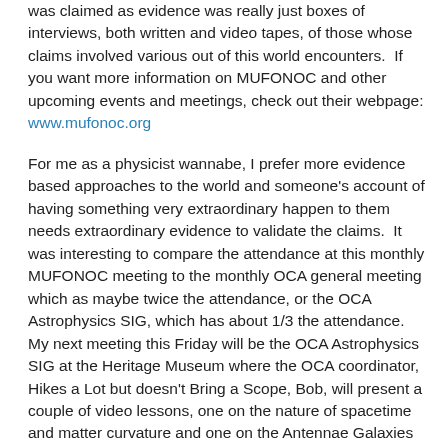was claimed as evidence was really just boxes of interviews, both written and video tapes, of those whose claims involved various out of this world encounters.  If you want more information on MUFONOC and other upcoming events and meetings, check out their webpage: www.mufonoc.org
For me as a physicist wannabe, I prefer more evidence based approaches to the world and someone's account of having something very extraordinary happen to them needs extraordinary evidence to validate the claims.  It was interesting to compare the attendance at this monthly MUFONOC meeting to the monthly OCA general meeting which as maybe twice the attendance, or the OCA Astrophysics SIG, which has about 1/3 the attendance.  My next meeting this Friday will be the OCA Astrophysics SIG at the Heritage Museum where the OCA coordinator, Hikes a Lot but doesn't Bring a Scope, Bob, will present a couple of video lessons, one on the nature of spacetime and matter curvature and one on the Antennae Galaxies and captured galaxies of the Milky Way.  Now we are talking neat, scientific stuff and both OCA meetings are free!  It's great that none of the OCA events have to charge for attendance